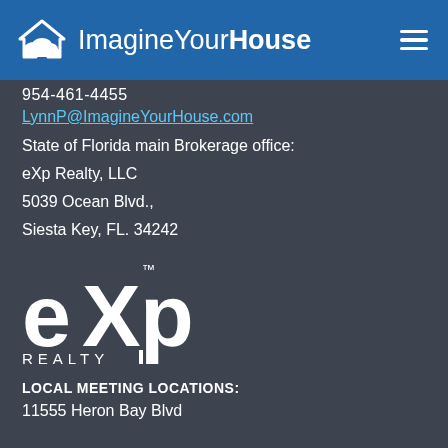[Figure (logo): ImagineYourHouse logo with house/cloud icon and hamburger menu on blue header bar]
954-461-4455
LynnP@ImagineYourHouse.com
State of Florida main Brokerage office:
eXp Realty, LLC
5039 Ocean Blvd.,
Siesta Key, FL. 34242
[Figure (logo): eXp Realty logo in white on dark background]
LOCAL MEETING LOCATIONS:
11555 Heron Bay Blvd